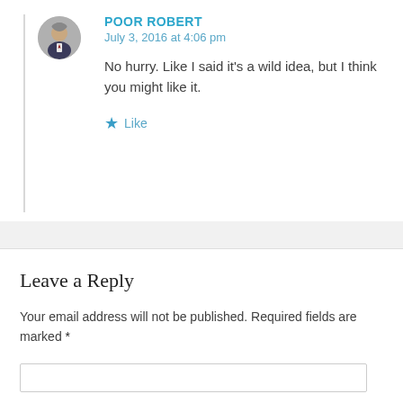POOR ROBERT
July 3, 2016 at 4:06 pm
No hurry. Like I said it's a wild idea, but I think you might like it.
Like
Leave a Reply
Your email address will not be published. Required fields are marked *